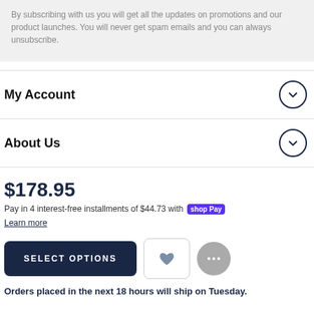By subscribing with us you will get all the updates on promotions and our product launches. You will never get spam emails and you can always unsubscribe.
My Account
About Us
$178.95
Pay in 4 interest-free installments of $44.73 with shop Pay
Learn more
SELECT OPTIONS
Orders placed in the next 18 hours will ship on Tuesday.